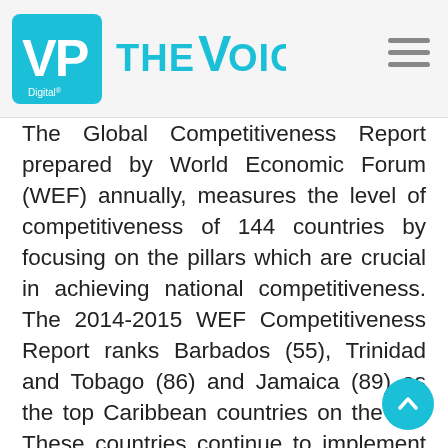VP Digital THE VOICE
The Global Competitiveness Report prepared by World Economic Forum (WEF) annually, measures the level of competitiveness of 144 countries by focusing on the pillars which are crucial in achieving national competitiveness. The 2014-2015 WEF Competitiveness Report ranks Barbados (55), Trinidad and Tobago (86) and Jamaica (89) as the top Caribbean countries on the list. These countries continue to implement a number of reforms to increase the competitiveness of their economies. While Saint Lucia is not included in this ranking, we can learn from some of the reforms undertaken by these economies to improve Saint Lucia's economic standing in the global and